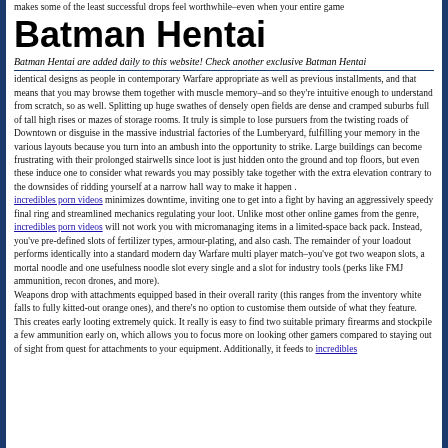makes some of the least successful drops feel worthwhile–even when your entire game
Batman Hentai
Batman Hentai are added daily to this website! Check another exclusive Batman Hentai
identical designs as people in contemporary Warfare appropriate as well as previous installments, and that means that you may browse them together with muscle memory–and so they're intuitive enough to understand from scratch, so as well. Splitting up huge swathes of densely open fields are dense and cramped suburbs full of tall high rises or mazes of storage rooms. It truly is simple to lose pursuers from the twisting roads of Downtown or disguise in the massive industrial factories of the Lumberyard, fulfilling your memory in the various layouts because you turn into an ambush into the opportunity to strike. Large buildings can become frustrating with their prolonged stairwells since loot is just hidden onto the ground and top floors, but even these induce one to consider what rewards you may possibly take together with the extra elevation contrary to the downsides of ridding yourself at a narrow hall way to make it happen . incredibles porn videos minimizes downtime, inviting one to get into a fight by having an aggressively speedy final ring and streamlined mechanics regulating your loot. Unlike most other online games from the genre, incredibles porn videos will not work you with micromanaging items in a limited-space back pack. Instead, you've pre-defined slots of fertilizer types, armour-plating, and also cash. The remainder of your loadout performs identically into a standard modern day Warfare multi player match–you've got two weapon slots, a mortal noodle and one usefulness noodle slot every single and a slot for industry tools (perks like FMJ ammunition, recon drones, and more). Weapons drop with attachments equipped based in their overall rarity (this ranges from the inventory white falls to fully kitted-out orange ones), and there's no option to customise them outside of what they feature. This creates early looting extremely quick. It really is easy to find two suitable primary firearms and stockpile a few ammunition early on, which allows you to focus more on looking other gamers compared to staying out of sight from quest for attachments to your equipment. Additionally, it feeds to incredibles